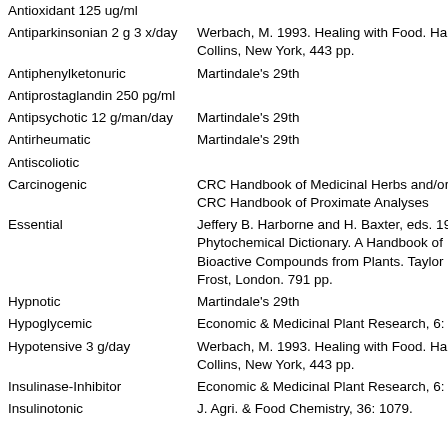| Activity/Property | Reference |
| --- | --- |
| Antioxidant 125 ug/ml |  |
| Antiparkinsonian 2 g 3 x/day | Werbach, M. 1993. Healing with Food. Ha Collins, New York, 443 pp. |
| Antiphenylketonuric | Martindale's 29th |
| Antiprostaglandin 250 pg/ml |  |
| Antipsychotic 12 g/man/day | Martindale's 29th |
| Antirheumatic | Martindale's 29th |
| Antiscoliotic |  |
| Carcinogenic | CRC Handbook of Medicinal Herbs and/or CRC Handbook of Proximate Analyses |
| Essential | Jeffery B. Harborne and H. Baxter, eds. 19 Phytochemical Dictionary. A Handbook of Bioactive Compounds from Plants. Taylor Frost, London. 791 pp. |
| Hypnotic | Martindale's 29th |
| Hypoglycemic | Economic & Medicinal Plant Research, 6: |
| Hypotensive 3 g/day | Werbach, M. 1993. Healing with Food. Ha Collins, New York, 443 pp. |
| Insulinase-Inhibitor | Economic & Medicinal Plant Research, 6: |
| Insulinotonic | J. Agri. & Food Chemistry, 36: 1079. |